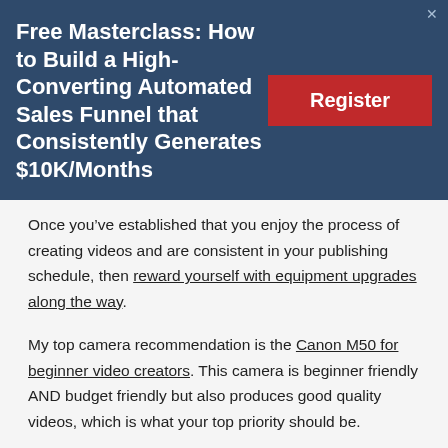Free Masterclass: How to Build a High-Converting Automated Sales Funnel that Consistently Generates $10K/Months
Register
Once you’ve established that you enjoy the process of creating videos and are consistent in your publishing schedule, then reward yourself with equipment upgrades along the way.
My top camera recommendation is the Canon M50 for beginner video creators. This camera is beginner friendly AND budget friendly but also produces good quality videos, which is what your top priority should be.